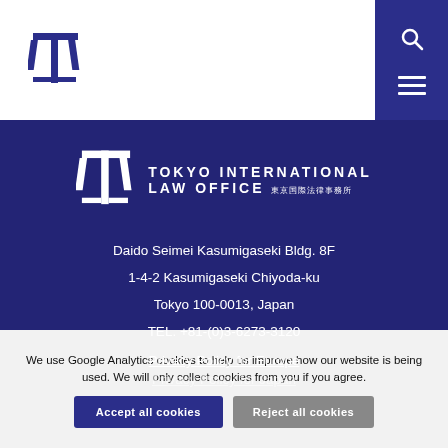[Figure (logo): Tokyo International Law Office logo with stylized T-Y symbol in navy blue, text reading TOKYO INTERNATIONAL LAW OFFICE with Japanese characters 東京国際法律事務所]
[Figure (logo): Tokyo International Law Office logo in white on dark blue background, larger version with TOKYO INTERNATIONAL LAW OFFICE and Japanese characters]
Daido Seimei Kasumigaseki Bldg. 8F
1-4-2 Kasumigaseki Chiyoda-ku
Tokyo 100-0013, Japan
TEL. +81-(0)3-6273-3120
Privacy Policy for Europe
Privacy Policy for Japan
We use Google Analytics cookies to help us improve how our website is being used. We will only collect cookies from you if you agree.
Accept all cookies
Reject all cookies